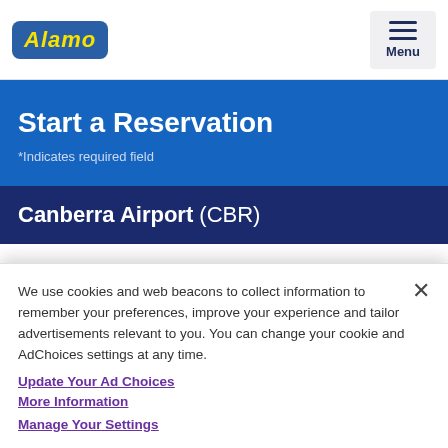Alamo | Menu
Start a Reservation
*Indicates required field
Canberra Airport (CBR)
We use cookies and web beacons to collect information to remember your preferences, improve your experience and tailor advertisements relevant to you. You can change your cookie and AdChoices settings at any time.
Update Your Ad Choices
More Information
Manage Your Settings